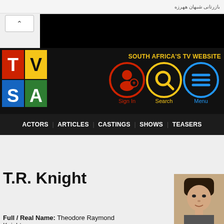بازرتانی شبهان ههرزه
[Figure (logo): TVSA logo — colorful block letters T, V, S, A on black background]
SOUTH AFRICA'S TV WEBSITE
[Figure (infographic): Navigation icons: Sign In (red circle with person+), Search (yellow circle with magnifying glass), Menu (blue circle with hamburger lines)]
ACTORS | ARTICLES | CASTINGS | SHOWS | TEASERS
T.R. Knight
Full / Real Name: Theodore Raymond Knight
[Figure (photo): Headshot photo of T.R. Knight, a young man with dark hair]